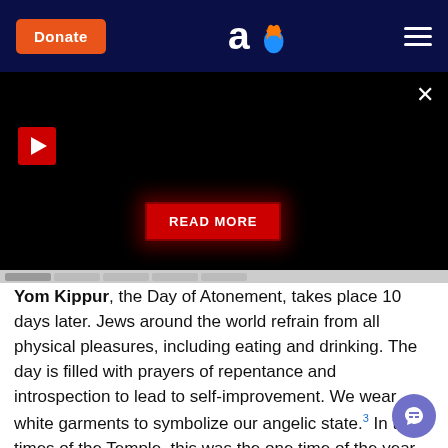Donate | Aish.com logo | Menu
[Figure (screenshot): Black video player area with red play button, close X button, and red READ MORE button with dark red glow]
Yom Kippur, the Day of Atonement, takes place 10 days later. Jews around the world refrain from all physical pleasures, including eating and drinking. The day is filled with prayers of repentance and introspection to lead to self-improvement. We wear white garments to symbolize our angelic state.3 In the times of the Temple, this was the one time of the year that the High Priest would enter the Holy of Holies.4